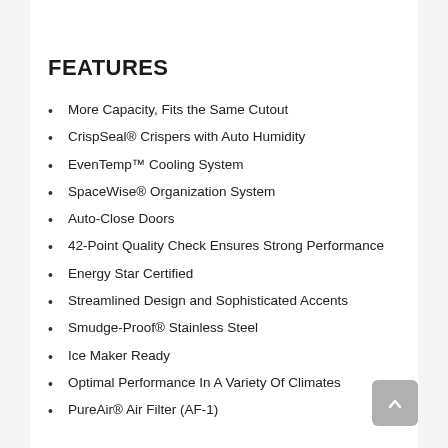FEATURES
More Capacity, Fits the Same Cutout
CrispSeal® Crispers with Auto Humidity
EvenTemp™ Cooling System
SpaceWise® Organization System
Auto-Close Doors
42-Point Quality Check Ensures Strong Performance
Energy Star Certified
Streamlined Design and Sophisticated Accents
Smudge-Proof® Stainless Steel
Ice Maker Ready
Optimal Performance In A Variety Of Climates
PureAir® Air Filter (AF-1)